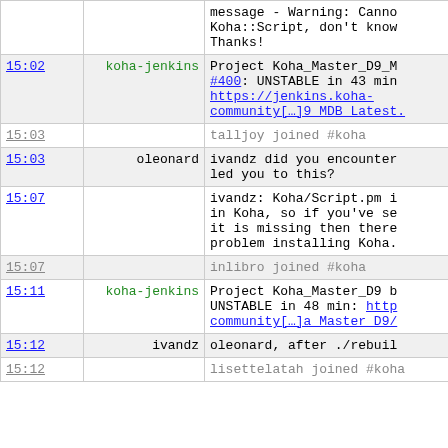| Time | User | Message |
| --- | --- | --- |
|  |  | message - Warning: Cannot
Koha::Script, don't know
Thanks! |
| 15:02 | koha-jenkins | Project Koha_Master_D9_M
#400: UNSTABLE in 43 min
https://jenkins.koha-community[…]9 MDB Latest. |
| 15:03 |  | talljoy joined #koha |
| 15:03 | oleonard | ivandz did you encounter
led you to this? |
| 15:07 |  | ivandz: Koha/Script.pm i
in Koha, so if you've se
it is missing then there
problem installing Koha. |
| 15:07 |  | inlibro joined #koha |
| 15:11 | koha-jenkins | Project Koha_Master_D9 b
UNSTABLE in 48 min: http
community[…]a Master D9/ |
| 15:12 | ivandz | oleonard, after ./rebuil |
| 15:12 |  | lisettelatah joined #koha |